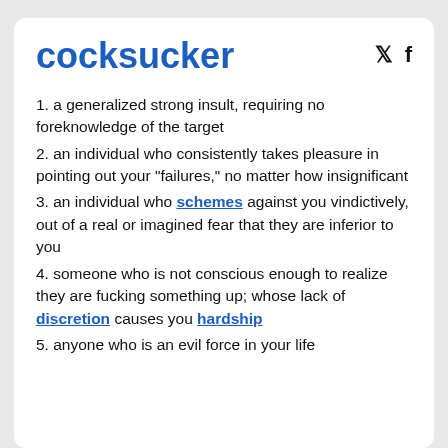cocksucker
1. a generalized strong insult, requiring no foreknowledge of the target
2. an individual who consistently takes pleasure in pointing out your "failures," no matter how insignificant
3. an individual who schemes against you vindictively, out of a real or imagined fear that they are inferior to you
4. someone who is not conscious enough to realize they are fucking something up; whose lack of discretion causes you hardship
5. anyone who is an evil force in your life